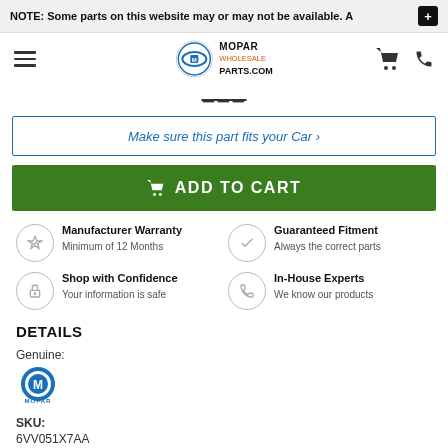NOTE: Some parts on this website may or may not be available. A
[Figure (logo): Mopar Wholesale Parts.com logo with hamburger menu, cart and phone icons]
Make sure this part fits your Car ›
ADD TO CART
Manufacturer Warranty
Minimum of 12 Months
Guaranteed Fitment
Always the correct parts
Shop with Confidence
Your information is safe
In-House Experts
We know our products
DETAILS
Genuine:
[Figure (logo): Mopar blue logo mark with MOPAR text below]
SKU:
6VV051X7AA